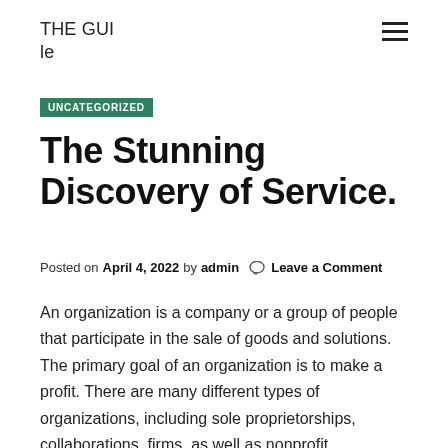THE GUI
le
UNCATEGORIZED
The Stunning Discovery of Service.
Posted on April 4, 2022 by admin  Leave a Comment
An organization is a company or a group of people that participate in the sale of goods and solutions. The primary goal of an organization is to make a profit. There are many different types of organizations, including sole proprietorships, collaborations, firms, as well as nonprofit companies. Each has distinctive features as well as benefits. To understand exactly how a company works, take into consideration a few of these definitions: